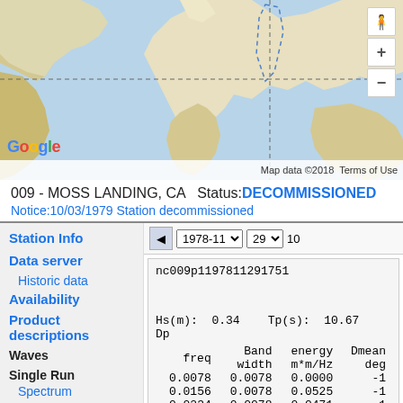[Figure (map): Google Maps world map showing station location with dashed boundary line, zoom controls (+/-) and street view person icon on the right side. Map data ©2018 Terms of Use shown at bottom.]
009 - MOSS LANDING, CA   Status: DECOMMISSIONED
Notice:10/03/1979 Station decommissioned
Station Info
Data server
  Historic data
Availability
Product descriptions
Waves
Single Run
  Spectrum
Monthly
nc009p1197811291751
Hs(m):  0.34    Tp(s):  10.67   Dp
| freq | Band width | energy m*m/Hz | Dmean deg |
| --- | --- | --- | --- |
| 0.0078 | 0.0078 | 0.0000 | -1 |
| 0.0156 | 0.0078 | 0.0525 | -1 |
| 0.0234 | 0.0078 | 0.0471 | -1 |